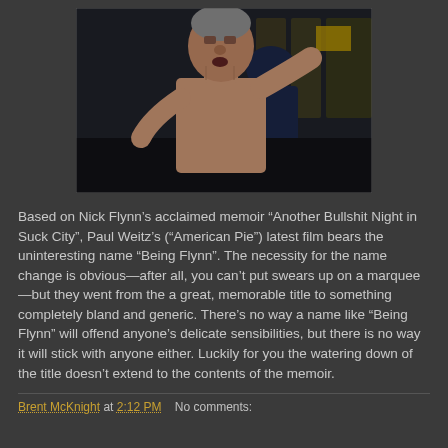[Figure (photo): A shirtless older man with gray hair and another person visible in the background, appears to be a film still from 'Being Flynn']
Based on Nick Flynn's acclaimed memoir “Another Bullshit Night in Suck City”, Paul Weitz’s (“American Pie”) latest film bears the uninteresting name “Being Flynn”. The necessity for the name change is obvious—after all, you can’t put swears up on a marquee—but they went from the a great, memorable title to something completely bland and generic. There’s no way a name like “Being Flynn” will offend anyone’s delicate sensibilities, but there is no way it will stick with anyone either. Luckily for you the watering down of the title doesn’t extend to the contents of the memoir.
Brent McKnight at 2:12 PM    No comments: